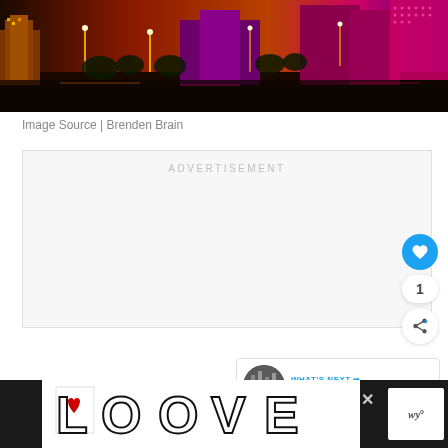[Figure (photo): Night cityscape of Macau with colorful illuminated casino buildings reflected in water]
Image Source | Brenden Brain
ADVERTISEMENT
[Figure (infographic): LOVE stylized text logo advertisement at bottom of page]
WHAT'S NEXT → How to get to Macau from...